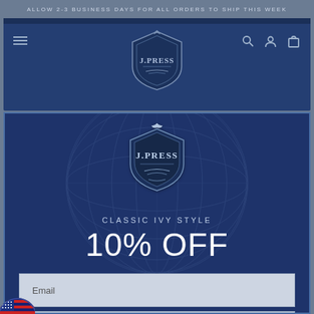ALLOW 2-3 BUSINESS DAYS FOR ALL ORDERS TO SHIP THIS WEEK
[Figure (logo): J.Press shield logo in website navigation header bar]
[Figure (screenshot): J.Press email signup modal with blue background, globe watermark, J.Press logo, 'CLASSIC IVY STYLE 10% OFF' text, email input field, and 'UNLOCK 10% OFF' button]
CLASSIC IVY STYLE
10% OFF
Email
UNLOCK 10% OFF